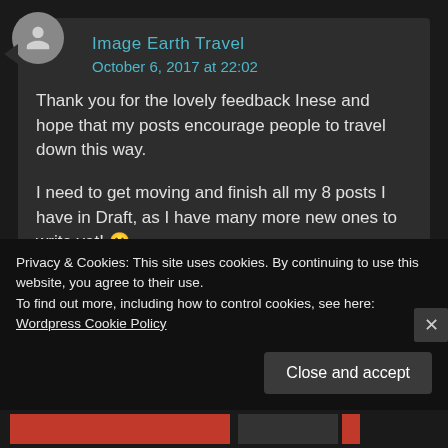Image Earth Travel
October 6, 2017 at 22:02
Thank you for the lovely feedback Inese and hope that my posts encourage people to travel down this way.

I need to get moving and finish all my 8 posts I have in Draft, as I have many more new ones to write yet! 🙂
Liked by 1 person
Privacy & Cookies: This site uses cookies. By continuing to use this website, you agree to their use.
To find out more, including how to control cookies, see here: Wordpress Cookie Policy
Close and accept